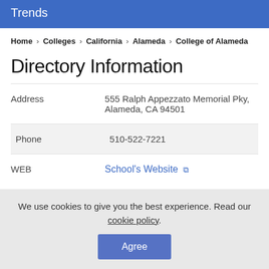Trends
Home › Colleges › California › Alameda › College of Alameda
Directory Information
| Field | Value |
| --- | --- |
| Address | 555 Ralph Appezzato Memorial Pky, Alameda, CA 94501 |
| Phone | 510-522-7221 |
| WEB | School's Website |
We use cookies to give you the best experience. Read our cookie policy.